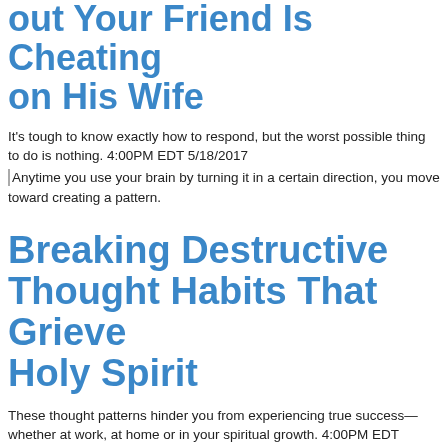Out Your Friend Is Cheating on His Wife
It's tough to know exactly how to respond, but the worst possible thing to do is nothing. 4:00PM EDT 5/18/2017
Anytime you use your brain by turning it in a certain direction, you move toward creating a pattern.
Breaking Destructive Thought Habits That Grieve Holy Spirit
These thought patterns hinder you from experiencing true success—whether at work, at home or in your spiritual growth. 4:00PM EDT 5/17/2017
The words you speak around your children are powerful and impact them more than you know.
Dad, Your Child Is